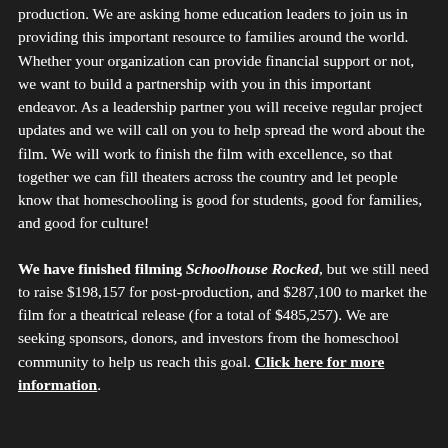production. We are asking home education leaders to join us in providing this important resource to families around the world. Whether your organization can provide financial support or not, we want to build a partnership with you in this important endeavor. As a leadership partner you will receive regular project updates and we will call on you to help spread the word about the film. We will work to finish the film with excellence, so that together we can fill theaters across the country and let people know that homeschooling is good for students, good for families, and good for culture!
We have finished filming Schoolhouse Rocked, but we still need to raise $198,157 for post-production, and $287,100 to market the film for a theatrical release (for a total of $485,257). We are seeking sponsors, donors, and investors from the homeschool community to help us reach this goal. Click here for more information.